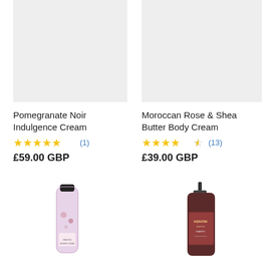[Figure (photo): Product image placeholder (light gray box) for Pomegranate Noir Indulgence Cream]
[Figure (photo): Product image placeholder (light gray box) for Moroccan Rose & Shea Butter Body Cream]
Pomegranate Noir Indulgence Cream
★★★★★ (1)
£59.00 GBP
Moroccan Rose & Shea Butter Body Cream
★★★★½ (13)
£39.00 GBP
[Figure (photo): Hand cream tube with floral pink pattern (Phyto product)]
[Figure (photo): Large pump bottle of Keratin shampoo/conditioner in dark amber bottle]